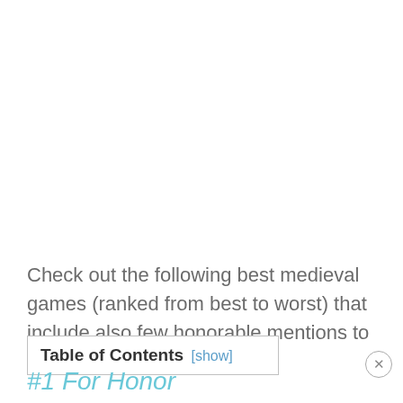Check out the following best medieval games (ranked from best to worst) that include also few honorable mentions to scratch that knightly itch.
| Table of Contents [show] |
| --- |
#1 For Honor